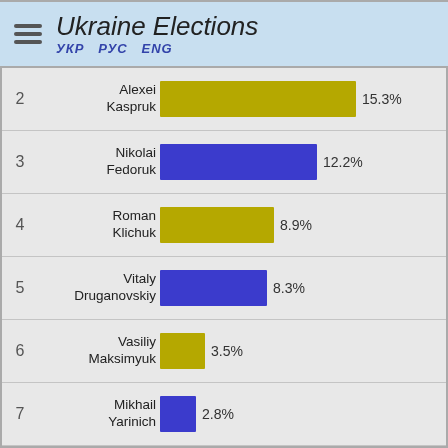[Figure (bar-chart): Ukraine Elections]